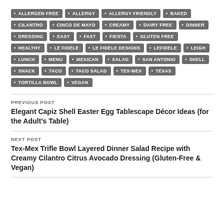ALLERGEN FREE, ALLERGY, ALLERGY FRIENDLY, BAKED, CILANTRO, CINCO DE MAYO, CREAMY, DAIRY FREE, DINNER, DRESSING, EASY, FAST, FIESTA, GLUTEN FREE, HEALTHY, LE FIDÈLE, LE FIDÈLE DESIGNS, LEFIDELE, LEIGH, LUNCH, MENU, MEXICAN, SALAD, SAN ANTONIO, SHELL, SNACK, TACO, TACO SALAD, TEX-MEX, TEXAS, TORTILLA BOWL, VEGAN
PREVIOUS POST
Elegant Capiz Shell Easter Egg Tablescape Décor Ideas (for the Adult's Table)
NEXT POST
Tex-Mex Trifle Bowl Layered Dinner Salad Recipe with Creamy Cilantro Citrus Avocado Dressing (Gluten-Free & Vegan)